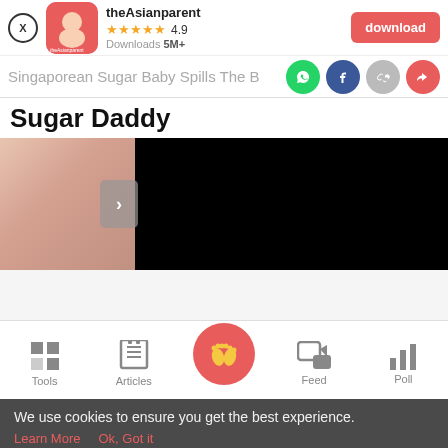[Figure (screenshot): App banner for theAsianparent with close button (X), app icon (red), app name 'theAsianparent', rating 4.9 stars, Downloads 5M+, and a red 'download' button]
Singaporean Sugar Baby Spills The B
[Figure (infographic): Share icons: WhatsApp (green), Facebook (blue), link (grey), share (red)]
Sugar Daddy
[Figure (photo): Article image split: left side shows a blurred skin-tone/peach photo, right side is black. Navigation arrow in grey rounded box in middle.]
[Figure (screenshot): Bottom navigation bar with icons: Tools, Articles, central pink circle with baby feet, Feed, Poll]
We use cookies to ensure you get the best experience.
Learn More   Ok, Got it